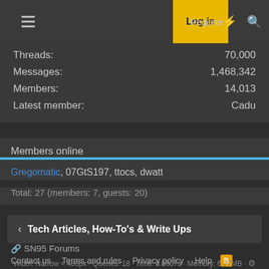Log in  Register
Threads: 70,000
Messages: 1,468,342
Members: 14,013
Latest member: Cadu
Members online
Gregomatic, 07GtS197, ttocs, dwatt
Total: 27 (members: 7, guests: 20)
< Tech Articles, How-To's & Write Ups
SN95 Forums
Contact us  Terms and rules  Privacy policy  Help
Community platform by XenForo® © 2010-2021 XenForo Ltd.
Width: Narrow < 480px · Queries: 18 · Time: 0.0807s · Memory: 6.27MB ·